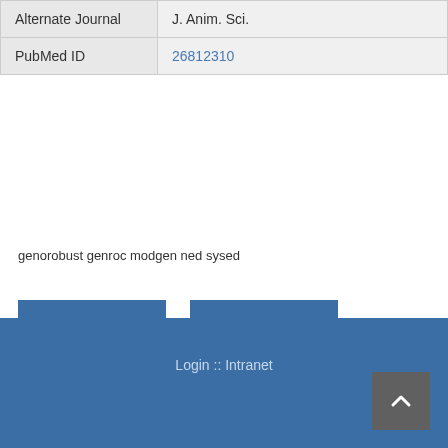| Alternate Journal | J. Anim. Sci. |
| PubMed ID | 26812310 |
genorobust genroc modgen ned sysed
PUBMED
DOI
Login :: Intranet